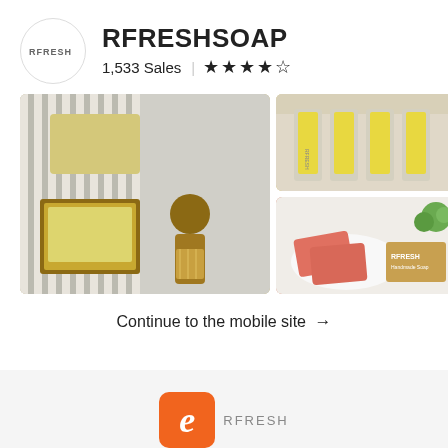[Figure (logo): Round white logo circle with RFRESH text]
RFRESHSOAP
1,533 Sales | ★★★★★
[Figure (photo): Left large photo: yellow soap bars on striped towel with wooden brush]
[Figure (photo): Top right photo: four yellow lip balm tubes labeled RFRESH THERAPY]
[Figure (photo): Bottom right photo: pink/coral soap bars in white dish with RFRESH branded box and succulent]
Continue to the mobile site →
[Figure (logo): Etsy orange rounded square E logo with RFRESH text beside it]
Share what you are visiting the